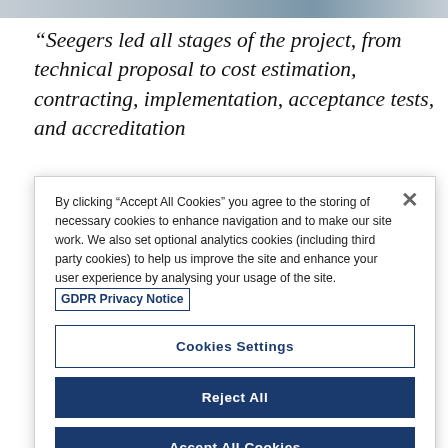[Figure (photo): Partial photo strip at the top of the page showing people in professional attire]
“Seegers led all stages of the project, from technical proposal to cost estimation, contracting, implementation, acceptance tests, and accreditation
By clicking “Accept All Cookies” you agree to the storing of necessary cookies to enhance navigation and to make our site work. We also set optional analytics cookies (including third party cookies) to help us improve the site and enhance your user experience by analysing your usage of the site. GDPR Privacy Notice
Cookies Settings
Reject All
Accept All Cookies